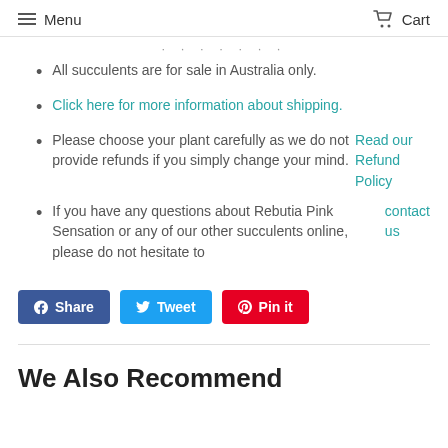Menu  Cart
All succulents are for sale in Australia only.
Click here for more information about shipping.
Please choose your plant carefully as we do not provide refunds if you simply change your mind. Read our Refund Policy
If you have any questions about Rebutia Pink Sensation or any of our other succulents online, please do not hesitate to contact us
[Figure (other): Social sharing buttons: Facebook Share, Tweet, Pinterest Pin it]
We Also Recommend